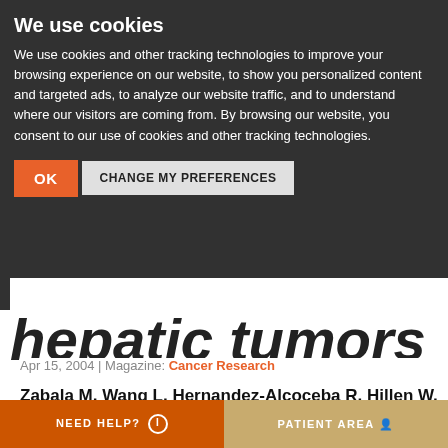We use cookies
We use cookies and other tracking technologies to improve your browsing experience on our website, to show you personalized content and targeted ads, to analyze our website traffic, and to understand where our visitors are coming from. By browsing our website, you consent to our use of cookies and other tracking technologies.
OK   CHANGE MY PREFERENCES
hepatic tumors
Apr 15, 2004 | Magazine: Cancer Research
Zabala M, Wang L, Hernandez-Alcoceba R, Hillen W, Qian C, Prieto J, Kramer MG.
NEED HELP?   PATIENT AREA